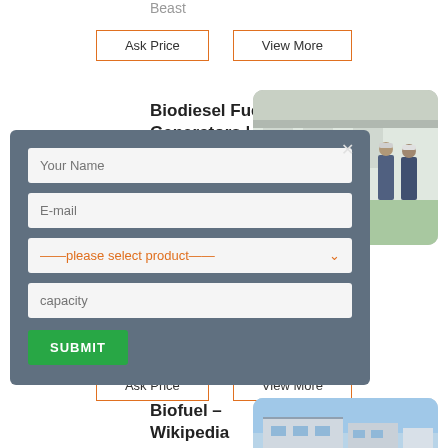Beast
Ask Price   View More
Biodiesel Fuel for Diesel Generators | Buy/Sell Diesel...
[Figure (photo): Group of workers in hard hats in an industrial facility]
[Figure (screenshot): Modal dialog with form fields: Your Name, E-mail, please select product dropdown, capacity, and SUBMIT button]
alternative to n diesel engines due to missions, and other
Ask Price   View More
Biofuel – Wikipedia
[Figure (photo): Building exterior photo]